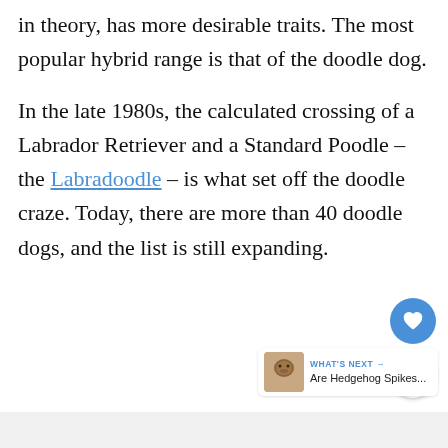in theory, has more desirable traits. The most popular hybrid range is that of the doodle dog.
In the late 1980s, the calculated crossing of a Labrador Retriever and a Standard Poodle – the Labradoodle – is what set off the doodle craze. Today, there are more than 40 doodle dogs, and the list is still expanding.